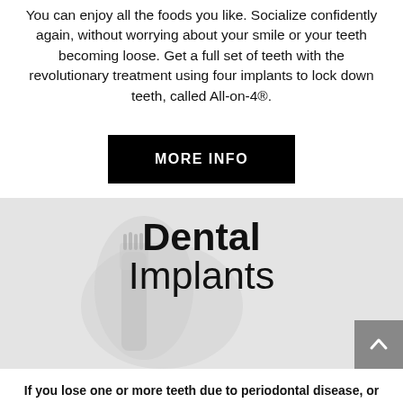You can enjoy all the foods you like. Socialize confidently again, without worrying about your smile or your teeth becoming loose. Get a full set of teeth with the revolutionary treatment using four implants to lock down teeth, called All-on-4®.
MORE INFO
[Figure (photo): Dental implants background image with toothbrush/implant visual in light grey]
Dental Implants
If you lose one or more teeth due to periodontal disease, or another cause, there is hope. Dental implants are changing the way people live!
They are designed to provide a foundation for replacement teeth that look, feel, and function like natural teeth. Dental